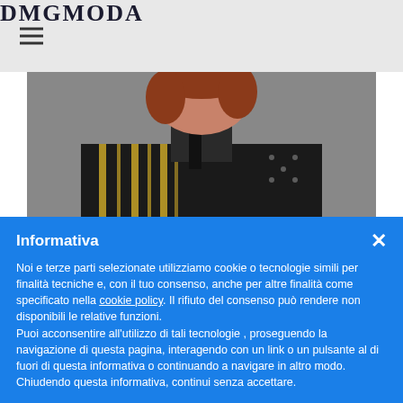DMGMODA
[Figure (photo): Woman with red hair wearing a black and gold striped jacket with a black scarf, photographed against a grey background]
Informativa
Noi e terze parti selezionate utilizziamo cookie o tecnologie simili per finalità tecniche e, con il tuo consenso, anche per altre finalità come specificato nella cookie policy. Il rifiuto del consenso può rendere non disponibili le relative funzioni.
Puoi acconsentire all'utilizzo di tali tecnologie , proseguendo la navigazione di questa pagina, interagendo con un link o un pulsante al di fuori di questa informativa o continuando a navigare in altro modo. Chiudendo questa informativa, continui senza accettare.